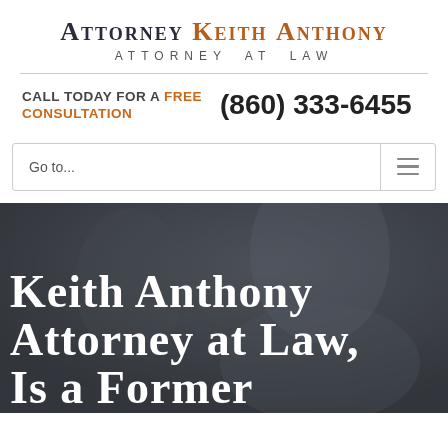Attorney Keith Anthony — Attorney at Law
Call Today for a Free Consultation  (860) 333-6455
Go to...
[Figure (photo): Dark hero background image (person in suit, blurred/darkened) with large white text overlay reading: KEITH ANTHONY ATTORNEY AT LAW, IS A FORMER]